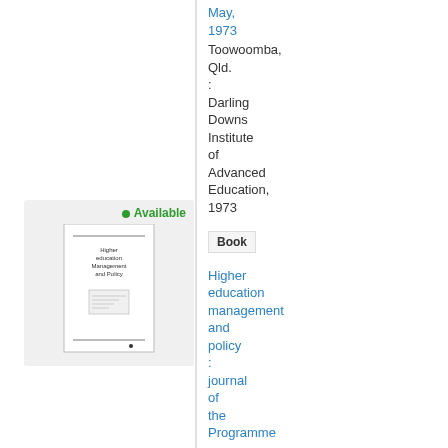May, 1973
Toowoomba, Qld. : Darling Downs Institute of Advanced Education, 1973
Book
Available
[Figure (illustration): Thumbnail cover image of a book titled 'Higher education Management and policy']
Higher education management and policy : journal of the Programme on